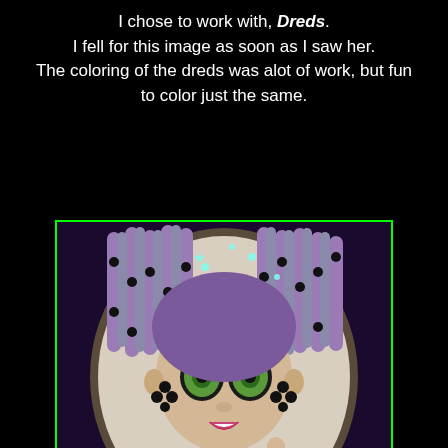I chose to work with, Dreds.
I fell for this image as soon as I saw her.
The coloring of the dreds was alot of work, but fun to color just the same.
[Figure (illustration): Illustration of a cartoon-style girl with large green eyes, purple and grey dreadlocks adorned with black beads and teal sparkles, wearing a purple top and striped black-and-white skirt, posed with one hand raised, set against a circular pale background with a dark purple background behind.]